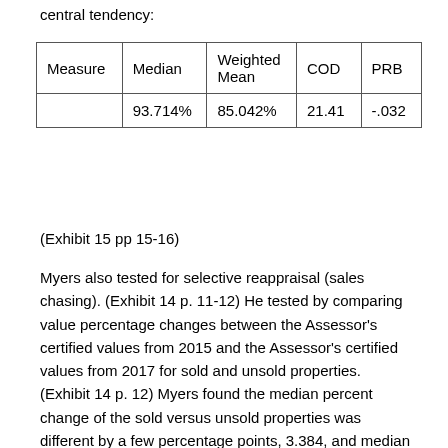central tendency:
| Measure | Median | Weighted Mean | COD | PRB |
| --- | --- | --- | --- | --- |
|  | 93.714% | 85.042% | 21.41 | -.032 |
(Exhibit 15 pp 15-16)
Myers also tested for selective reappraisal (sales chasing). (Exhibit 14 p. 11-12) He tested by comparing value percentage changes between the Assessor's certified values from 2015 and the Assessor's certified values from 2017 for sold and unsold properties. (Exhibit 14 p. 12) Myers found the median percent change of the sold versus unsold properties was different by a few percentage points, 3.384, and median absolute deviation was 3.858. (Exhibit 14 p. 13) Although his testing indicated